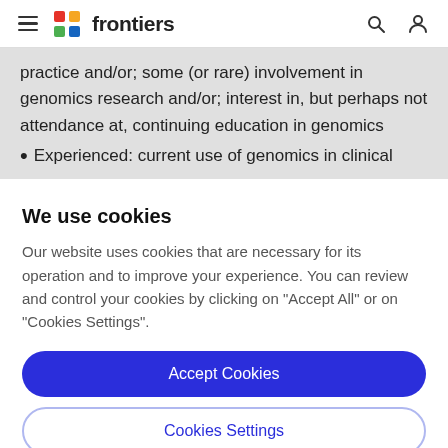frontiers
practice and/or; some (or rare) involvement in genomics research and/or; interest in, but perhaps not attendance at, continuing education in genomics
Experienced: current use of genomics in clinical
We use cookies
Our website uses cookies that are necessary for its operation and to improve your experience. You can review and control your cookies by clicking on "Accept All" or on "Cookies Settings".
Accept Cookies
Cookies Settings